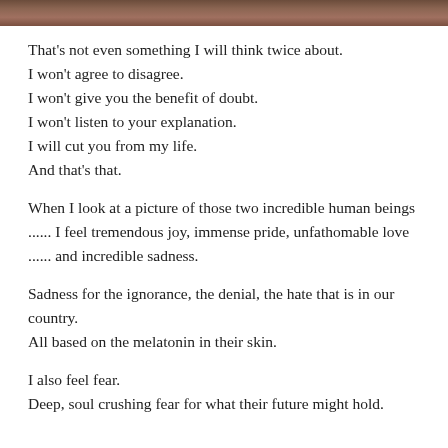[Figure (photo): Partial photo strip at top of page showing a brown/wooden texture background]
That’s not even something I will think twice about.
I won’t agree to disagree.
I won’t give you the benefit of doubt.
I won’t listen to your explanation.
I will cut you from my life.
And that’s that.
When I look at a picture of those two incredible human beings ...... I feel tremendous joy, immense pride, unfathomable love ...... and incredible sadness.
Sadness for the ignorance, the denial, the hate that is in our country.
All based on the melatonin in their skin.
I also feel fear.
Deep, soul crushing fear for what their future might hold.